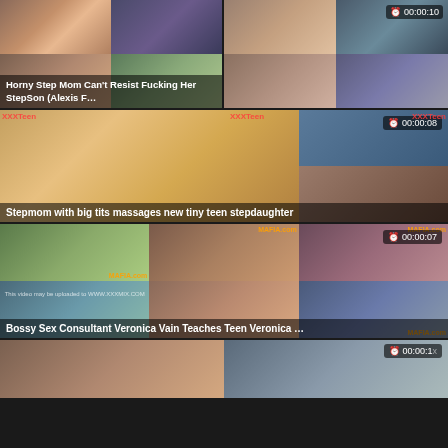[Figure (screenshot): Video thumbnail grid item 1: Horny Step Mom Can't Resist Fucking Her StepSon (Alexis F…]
[Figure (screenshot): Video thumbnail grid item 2: Stepmom with big tits massages new tiny teen stepdaughter, duration 00:00:08]
[Figure (screenshot): Video thumbnail grid item 3: Bossy Sex Consultant Veronica Vain Teaches Teen Veronica …, duration 00:00:07]
[Figure (screenshot): Video thumbnail grid item 4: partial thumbnail at bottom, duration 00:00:1x]